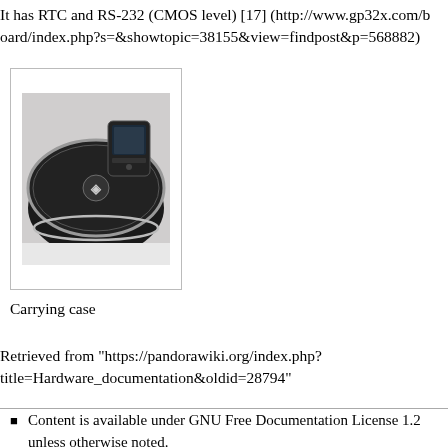It has RTC and RS-232 (CMOS level) [17] (http://www.gp32x.com/board/index.php?s=&showtopic=38155&view=findpost&p=568882)
[Figure (photo): A black carrying case with a white logo, with a small device placed on top, both resting on a white background.]
Carrying case
Retrieved from "https://pandorawiki.org/index.php?title=Hardware_documentation&oldid=28794"
Content is available under GNU Free Documentation License 1.2 unless otherwise noted.